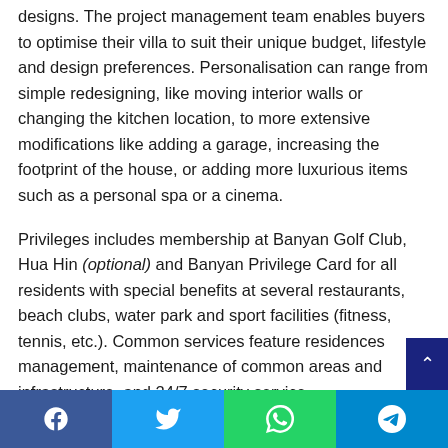designs. The project management team enables buyers to optimise their villa to suit their unique budget, lifestyle and design preferences. Personalisation can range from simple redesigning, like moving interior walls or changing the kitchen location, to more extensive modifications like adding a garage, increasing the footprint of the house, or adding more luxurious items such as a personal spa or a cinema.
Privileges includes membership at Banyan Golf Club, Hua Hin (optional) and Banyan Privilege Card for all residents with special benefits at several restaurants, beach clubs, water park and sport facilities (fitness, tennis, etc.). Common services feature residences management, maintenance of common areas and infrastructure, and 24/7 security service.
Prices range from THB11.9 million and can go up to luxury